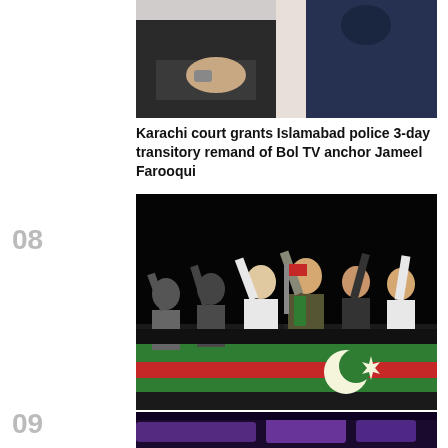[Figure (photo): Cropped photo showing people sitting, man in dark blue shirt and another in suit, partial view from chest down]
Karachi court grants Islamabad police 3-day transitory remand of Bol TV anchor Jameel Farooqui
08
[Figure (photo): Group of men on stage with arms raised, PTI flag with crescent and star visible on podium in front]
IHC to initiate contempt proceedings against Imran for controversial remarks regarding sessions judge
09
[Figure (photo): Blurred electronic device screen with purple/blue lighting, partial bottom of page photo]